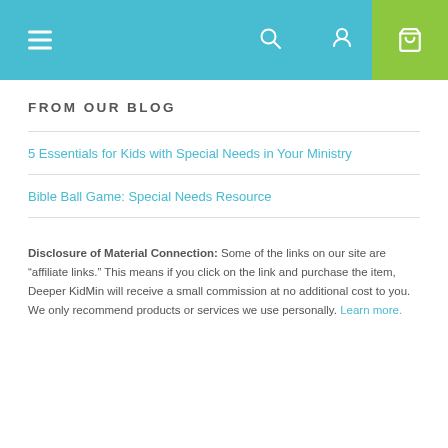Navigation bar with hamburger menu, search icon, user icon, and cart button
FROM OUR BLOG
5 Essentials for Kids with Special Needs in Your Ministry
Bible Ball Game: Special Needs Resource
Disclosure of Material Connection: Some of the links on our site are “affiliate links.” This means if you click on the link and purchase the item, Deeper KidMin will receive a small commission at no additional cost to you. We only recommend products or services we use personally. Learn more.